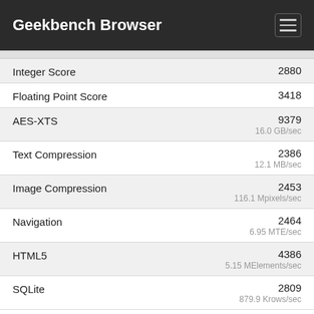Geekbench Browser
| Metric | Score | Unit |
| --- | --- | --- |
| Integer Score | 2880 |  |
| Floating Point Score | 3418 |  |
| AES-XTS | 9379 | 16.0 GB/sec |
| Text Compression | 2386 | 12.1 MB/sec |
| Image Compression | 2453 | 116.1 Mpixels/sec |
| Navigation | 2464 | 6.95 MTE/sec |
| HTML5 | 4386 | 5.15 MElements/sec |
| SQLite | 2809 | 879.9 Krows/sec |